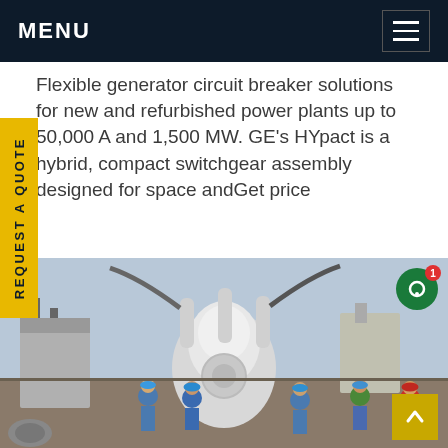MENU
Flexible generator circuit breaker solutions for new and refurbished power plants up to 50,000 A and 1,500 MW. GE's HYpact is a hybrid, compact switchgear assembly designed for space andGet price
[Figure (photo): Workers in blue hard hats and safety gear standing around large industrial electrical switchgear equipment at an outdoor power plant installation site. A large white GIS/GCB unit is prominently visible in the center.]